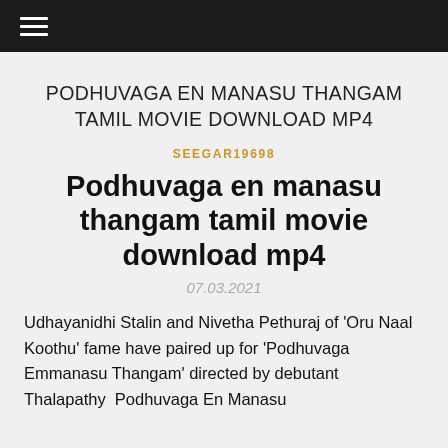≡
PODHUVAGA EN MANASU THANGAM TAMIL MOVIE DOWNLOAD MP4
SEEGAR19698
Podhuvaga en manasu thangam tamil movie download mp4
07.03.2021
Udhayanidhi Stalin and Nivetha Pethuraj of 'Oru Naal Koothu' fame have paired up for 'Podhuvaga Emmanasu Thangam' directed by debutant Thalapathy  Podhuvaga En Manasu